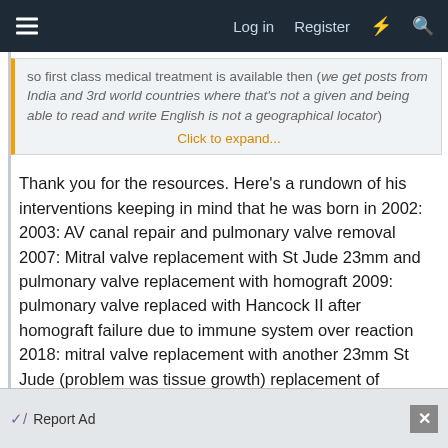Log in   Register
so first class medical treatment is available then (we get posts from India and 3rd world countries where that's not a given and being able to read and write English is not a geographical locator)
Click to expand...
Thank you for the resources. Here’s a rundown of his interventions keeping in mind that he was born in 2002:
2003: AV canal repair and pulmonary valve removal
2007: Mitral valve replacement with St Jude 23mm and pulmonary valve replacement with homograft
2009: pulmonary valve replaced with Hancock II after homograft failure due to immune system over reaction
2018: mitral valve replacement with another 23mm St Jude (problem was tissue growth) replacement of pulmonary with larger Hancock II
Report Ad